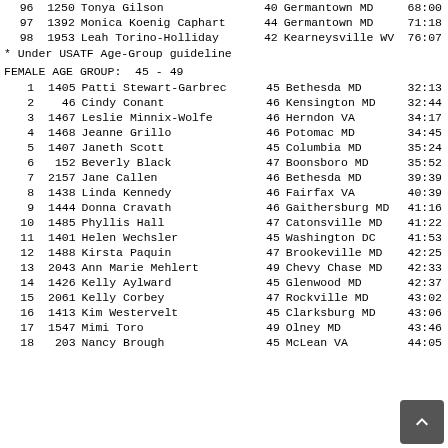| Rank | Bib | Name | Age | City | State | Time |
| --- | --- | --- | --- | --- | --- | --- |
| 96 | 1250 | Tonya Gilson | 40 | Germantown | MD | 68:00 |
| 97 | 1392 | Monica Koenig Caphart | 44 | Germantown | MD | 71:18 |
| 98 | 1953 | Leah Torino-Holliday | 42 | Kearneysville | WV | 76:07 |
* Under USATF Age-Group guideline
FEMALE AGE GROUP:  45 - 49
| Rank | Bib | Name | Age | City | State | Time |
| --- | --- | --- | --- | --- | --- | --- |
| 1 | 1405 | Patti Stewart-Garbrec | 45 | Bethesda | MD | 32:13 |
| 2 | 46 | Cindy Conant | 46 | Kensington | MD | 32:44 |
| 3 | 1467 | Leslie Minnix-Wolfe | 46 | Herndon | VA | 34:17 |
| 4 | 1468 | Jeanne Grillo | 46 | Potomac | MD | 34:45 |
| 5 | 1407 | Janeth Scott | 45 | Columbia | MD | 35:24 |
| 6 | 152 | Beverly Black | 47 | Boonsboro | MD | 35:52 |
| 7 | 2157 | Jane Callen | 46 | Bethesda | MD | 39:39 |
| 8 | 1438 | Linda Kennedy | 46 | Fairfax | VA | 40:39 |
| 9 | 1444 | Donna Cravath | 46 | Gaithersburg | MD | 41:16 |
| 10 | 1485 | Phyllis Hall | 47 | Catonsville | MD | 41:22 |
| 11 | 1401 | Helen Wechsler | 45 | Washington | DC | 41:53 |
| 12 | 1488 | Kirsta Paquin | 47 | Brookeville | MD | 42:25 |
| 13 | 2043 | Ann Marie Mehlert | 49 | Chevy Chase | MD | 42:33 |
| 14 | 1426 | Kelly Aylward | 45 | Glenwood | MD | 42:37 |
| 15 | 2061 | Kelly Corbey | 47 | Rockville | MD | 43:02 |
| 16 | 1413 | Kim Westervelt | 45 | Clarksburg | MD | 43:06 |
| 17 | 1547 | Mimi Toro | 49 | Olney | MD | 43:46 |
| 18 | 203 | Nancy Brough | 45 | McLean | VA | 44:05 |